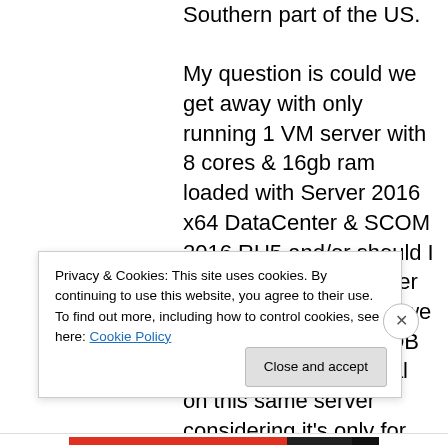Southern part of the US. My question is could we get away with only running 1 VM server with 8 cores & 16gb ram loaded with Server 2016 x64 DataCenter & SCOM 2016 RU5 and/or should I have another MS server for running ACS? Can we configure the SCOM DB and WDB running local on this same server considering it's only for monitoring a few servers? Also is SQL Express to install ok or do we need to purchase a SQL license? How many servers all together should we dedicate for
Privacy & Cookies: This site uses cookies. By continuing to use this website, you agree to their use.
To find out more, including how to control cookies, see here: Cookie Policy